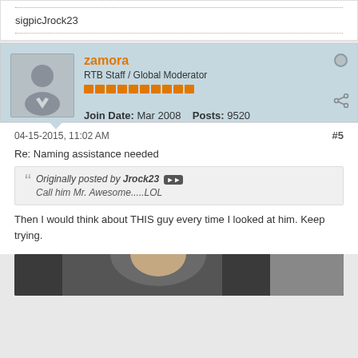sigpicJrock23
zamora
RTB Staff / Global Moderator
Join Date: Mar 2008   Posts: 9520
04-15-2015, 11:02 AM   #5
Re: Naming assistance needed
Originally posted by Jrock23
Call him Mr. Awesome.....LOL
Then I would think about THIS guy every time I looked at him. Keep trying.
[Figure (photo): Partial photo of a person, mostly face/head cropped at bottom of page]